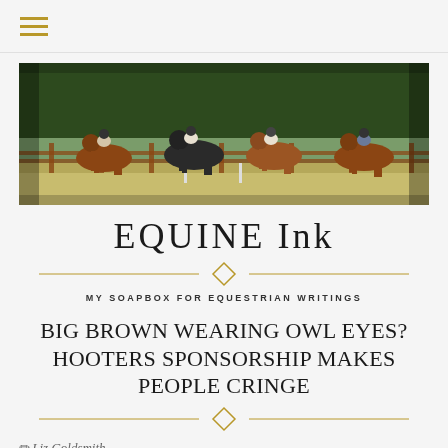≡ (hamburger menu)
[Figure (photo): Four equestrians riding chestnut horses in an outdoor arena with wooden fencing and green trees in the background]
EQUINE Ink
MY SOAPBOX FOR EQUESTRIAN WRITINGS
BIG BROWN WEARING OWL EYES? HOOTERS SPONSORSHIP MAKES PEOPLE CRINGE
✏ Liz Goldsmith